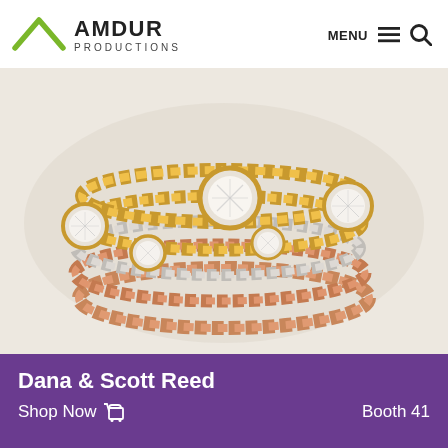AMDUR PRODUCTIONS  MENU  🔍
[Figure (photo): Stacked rings in yellow gold, white gold, and rose gold with diamond bezel settings arranged in an artistic stack, photographed on a white background.]
Dana & Scott Reed
Shop Now 🛒  Booth 41